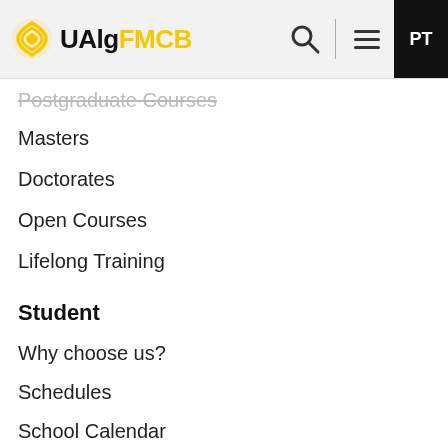UAlgFMCB
Postgraduate Courses
Masters
Doctorates
Open Courses
Lifelong Training
Student
Why choose us?
Schedules
School Calendar
Library
IT Support
Living at UAlg